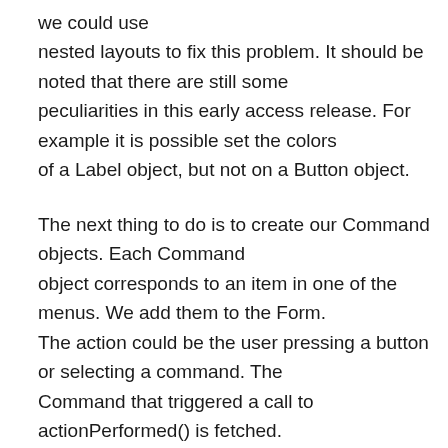we could use nested layouts to fix this problem. It should be noted that there are still some peculiarities in this early access release. For example it is possible set the colors of a Label object, but not on a Button object.
The next thing to do is to create our Command objects. Each Command object corresponds to an item in one of the menus. We add them to the Form. The action could be the user pressing a button or selecting a command. The Command that triggered a call to actionPerformed() is fetched.